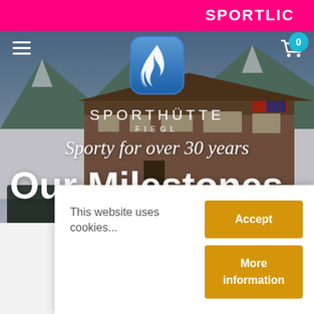SPORTLICK
[Figure (screenshot): Hero photo of Sporthütte Fiegl ski shop in winter with snow, cars parked in front, mountains in background]
SPORTHÜTTE FIEGL
Sporty for over 30 years
Our Milestones
This website uses cookies...
Accept
More information